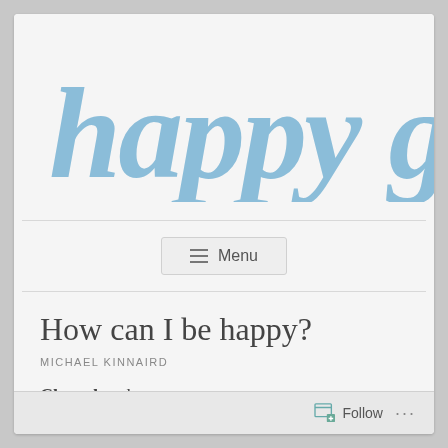[Figure (logo): happy guide logo in large rounded chunky blue hand-drawn lettering]
Menu
How can I be happy?
MICHAEL KINNAIRD
Chaeedy asks...
Follow ...